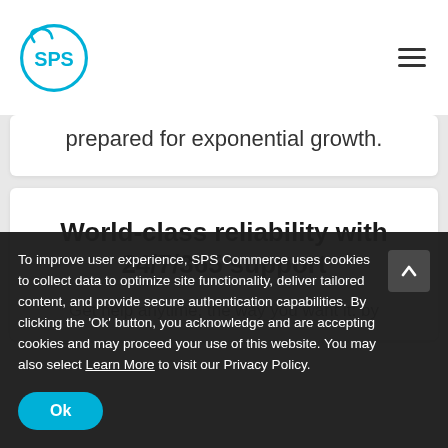SPS Commerce - logo and navigation
prepared for exponential growth.
World-class reliability with 24/7/365 support
Get help anytime, the way you want it: by…
To improve user experience, SPS Commerce uses cookies to collect data to optimize site functionality, deliver tailored content, and provide secure authentication capabilities. By clicking the 'Ok' button, you acknowledge and are accepting cookies and may proceed your use of this website. You may also select Learn More to visit our Privacy Policy.